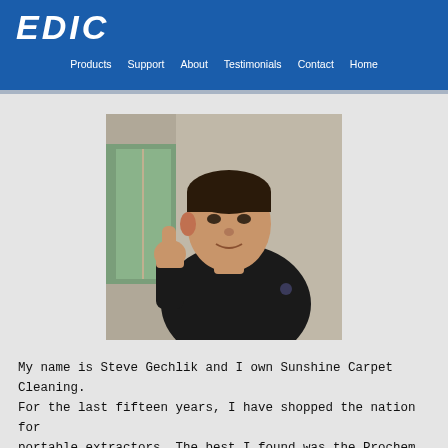EDIC | Products | Support | About | Testimonials | Contact | Home
[Figure (photo): A man wearing a black long-sleeve shirt giving a thumbs up gesture, standing in front of a window with greenery visible outside]
My name is Steve Gechlik and I own Sunshine Carpet Cleaning. For the last fifteen years, I have shopped the nation for portable extractors. The best I found was the Prochem